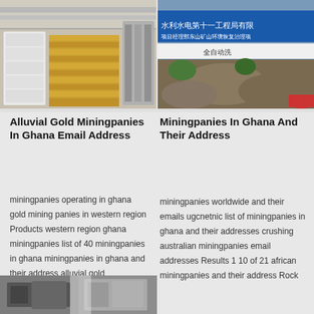[Figure (photo): Two-panel image: left shows industrial/mining facility with white bags and yellow stacked materials; right shows Chinese text signage on a building with outdoor rocky terrain]
Alluvial Gold Miningpanies In Ghana Email Address
miningpanies operating in ghana gold mining panies in western region Products western region ghana miningpanies list of 40 miningpanies in ghana miningpanies in ghana and their address alluvial gold miningpanies in ghana email address home registered gold
Miningpanies In Ghana And Their Address
miningpanies worldwide and their emails ugcnetnic list of miningpanies in ghana and their addresses crushing australian miningpanies email addresses Results 1 10 of 21 african miningpanies and their address Rock Crusher social marketing to mining companies in ghana PE Series Jaw Crusher Ghana Pager Email
[Figure (photo): Bottom partial image showing industrial/mining equipment or facility interior]